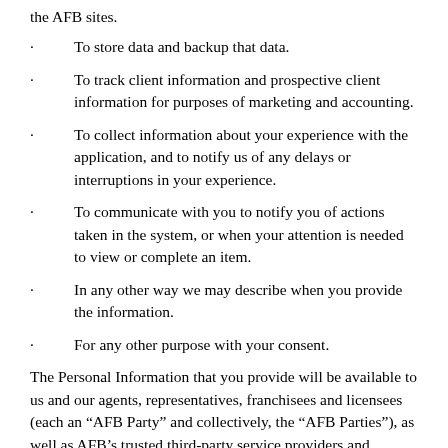the AFB sites.
To store data and backup that data.
To track client information and prospective client information for purposes of marketing and accounting.
To collect information about your experience with the application, and to notify us of any delays or interruptions in your experience.
To communicate with you to notify you of actions taken in the system, or when your attention is needed to view or complete an item.
In any other way we may describe when you provide the information.
For any other purpose with your consent.
The Personal Information that you provide will be available to us and our agents, representatives, franchisees and licensees (each an “AFB Party” and collectively, the “AFB Parties”), as well as AFB’s trusted third-party service providers and contractors (collectively, “Third-Party